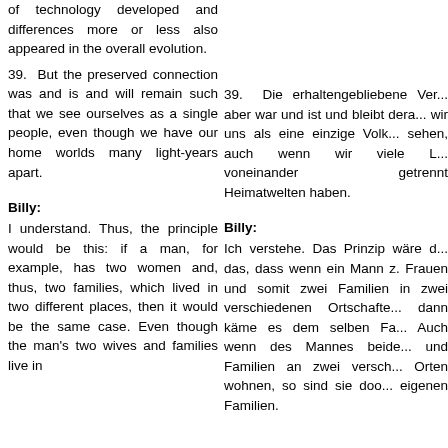of technology developed and differences more or less also appeared in the overall evolution.
39. But the preserved connection was and is and will remain such that we see ourselves as a single people, even though we have our home worlds many light-years apart.
39. Die erhaltengebliebene Ve... aber war und ist und bleibt dera... wir uns als eine einzige Volk... sehen, auch wenn wir viele L... voneinander getrennt Heimatwelten haben.
Billy:
I understand. Thus, the principle would be this: if a man, for example, has two women and, thus, two families, which lived in two different places, then it would be the same case. Even though the man's two wives and families live in
Billy:
Ich verstehe. Das Prinzip wäre d... das, dass wenn ein Mann z. Frauen und somit zwei Familien in zwei verschiedenen Ortschafte... dann käme es dem selben Fa... Auch wenn des Mannes beide... und Familien an zwei versch... Orten wohnen, so sind sie doo... eigenen Familien.